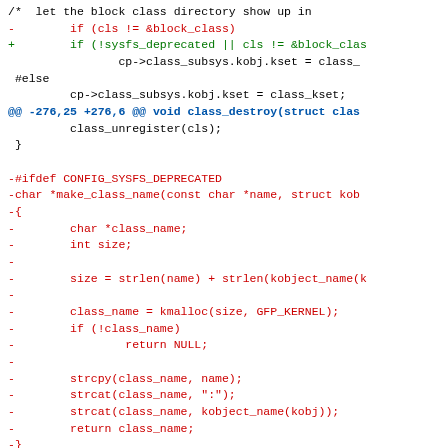[Figure (screenshot): A diff/patch view of C source code showing removed lines (red, prefixed with -), added lines (green, prefixed with +), context lines (black), and hunk headers (blue). The diff shows changes to Linux kernel class/sysfs code including removal of make_class_name function and CONFIG_SYSFS_DEPRECATED block.]